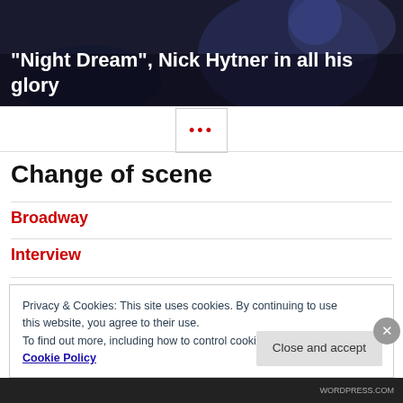[Figure (photo): Dark theatrical crowd scene with text overlay: 'Night Dream", Nick Hytner in all his glory']
Change of scene
Broadway
Interview
Privacy & Cookies: This site uses cookies. By continuing to use this website, you agree to their use.
To find out more, including how to control cookies, see here: Cookie Policy